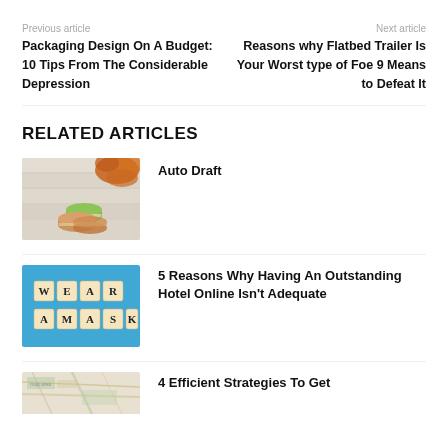Previous article
Next article
Packaging Design On A Budget: 10 Tips From The Considerable Depression
Reasons why Flatbed Trailer Is Your Worst type of Foe 9 Means to Defeat It
RELATED ARTICLES
[Figure (photo): Stack of macarons with orange flowers on white wood background]
Auto Draft
[Figure (photo): Scrabble tiles spelling WEAR A MASK on blue background]
5 Reasons Why Having An Outstanding Hotel Online Isn't Adequate
[Figure (photo): Map photo, partially visible at bottom]
4 Efficient Strategies To Get